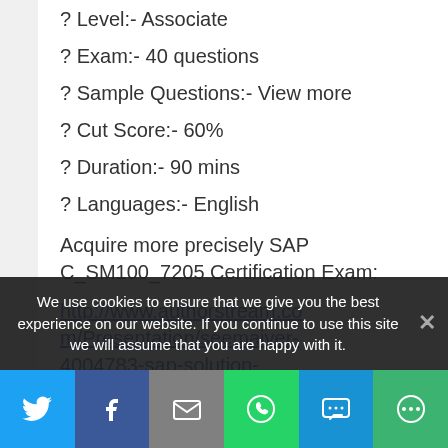? Level:- Associate
? Exam:- 40 questions
? Sample Questions:- View more
? Cut Score:- 60%
? Duration:- 90 mins
? Languages:- English
Acquire more precisely SAP C_SM100_7205 Certification Exam:
http://www.authorstream.com/Presentation/seemaiyer-4004783-sap-solution-
We use cookies to ensure that we give you the best experience on our website. If you continue to use this site we will assume that you are happy with it.
[Figure (infographic): Social sharing bar with Twitter, Facebook, Email, WhatsApp, SMS, and More buttons]